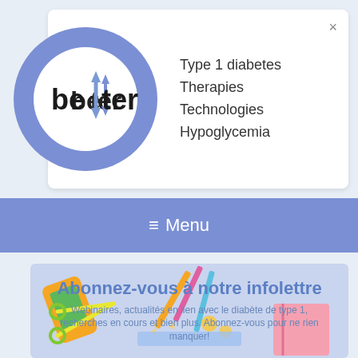[Figure (logo): Better logo — dark blue ring with white inner circle containing the word 'better' in bold dark text with a blue up-down arrow replacing the letter t]
Type 1 diabetes
Therapies
Technologies
Hypoglycemia
×
≡  Menu
[Figure (illustration): Colorful illustration of school/office supplies (phone, pencils, scissors, coins, notebook) scattered on a light blue background]
Abonnez-vous à notre infolettre
Webinaires, actualités en lien avec le diabète de type 1, recherches en cours et bien plus. Abonnez-vous pour ne rien manquer!